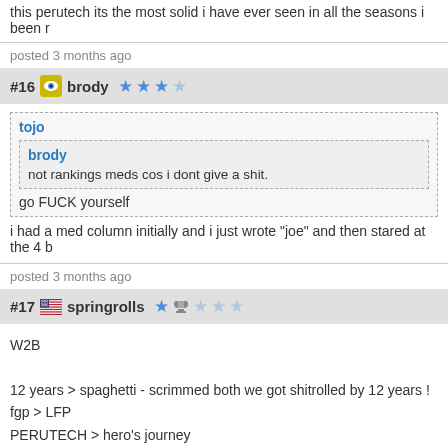this perutech its the most solid i have ever seen in all the seasons i been r
posted 3 months ago
#16  brody ☆☆☆☆
tojo
  brody
  not rankings meds cos i dont give a shit.
go FUCK yourself
i had a med column initially and i just wrote "joe" and then stared at the 4 b
posted 3 months ago
#17  springrolls ☆
W2B

12 years > spaghetti - scrimmed both we got shitrolled by 12 years !
fgp > LFP
PERUTECH > hero's journey
triiiple = sekt mafia gl;hf
go rowl > spicy